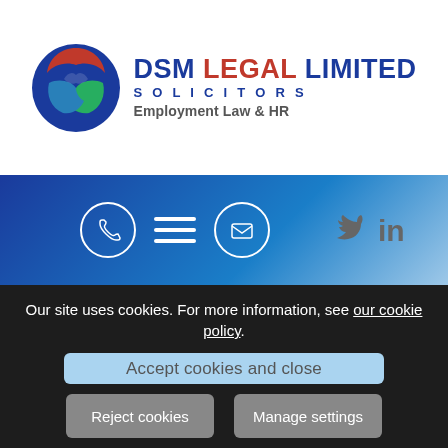[Figure (logo): DSM Legal Limited Solicitors logo with circular emblem featuring red, blue and green bird/leaf shapes, and text 'DSM LEGAL LIMITED SOLICITORS Employment Law & HR']
[Figure (screenshot): Navigation bar with blue gradient background, phone icon circle, hamburger menu, email icon circle, Twitter and LinkedIn social icons]
Our site uses cookies. For more information, see our cookie policy.
Accept cookies and close
Reject cookies
Manage settings